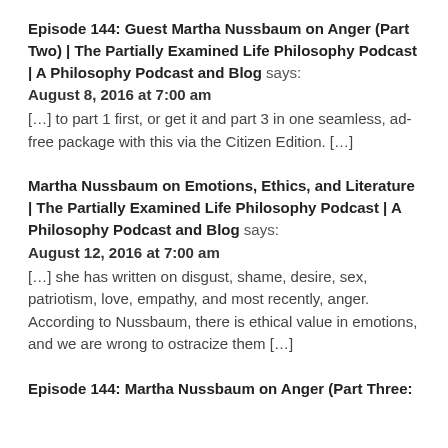Episode 144: Guest Martha Nussbaum on Anger (Part Two) | The Partially Examined Life Philosophy Podcast | A Philosophy Podcast and Blog says:
August 8, 2016 at 7:00 am
[…] to part 1 first, or get it and part 3 in one seamless, ad-free package with this via the Citizen Edition. […]
Martha Nussbaum on Emotions, Ethics, and Literature | The Partially Examined Life Philosophy Podcast | A Philosophy Podcast and Blog says:
August 12, 2016 at 7:00 am
[…] she has written on disgust, shame, desire, sex, patriotism, love, empathy, and most recently, anger. According to Nussbaum, there is ethical value in emotions, and we are wrong to ostracize them […]
Episode 144: Martha Nussbaum on Anger (Part Three: